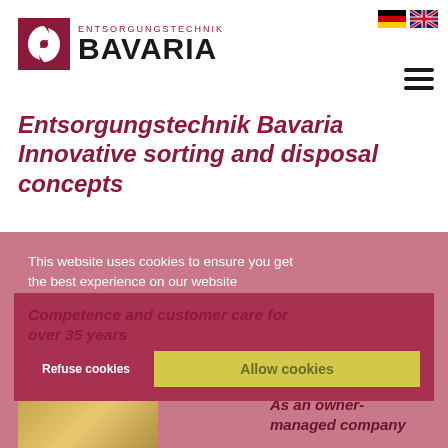[Figure (logo): Entsorgungstechnik Bavaria logo with swirl icon and text]
[Figure (illustration): German and UK flag icons for language selection]
Entsorgungstechnik Bavaria Innovative sorting and disposal concepts
This website uses cookies to ensure you get the best experience on our website
Competence and customer care for over 35 years
Refuse cookies
Allow cookies
As an owner-managed company